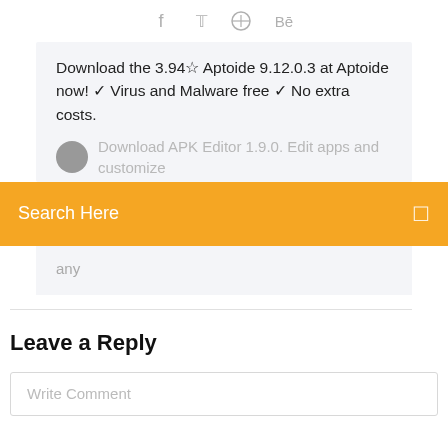[Figure (other): Social media icons: Facebook, Twitter, Dribbble, Behance in gray]
Download the 3.94☆ Aptoide 9.12.0.3 at Aptoide now! ✓ Virus and Malware free ✓ No extra costs.
Download APK Editor 1.9.0. Edit apps and customize
Search Here
any
Leave a Reply
Write Comment